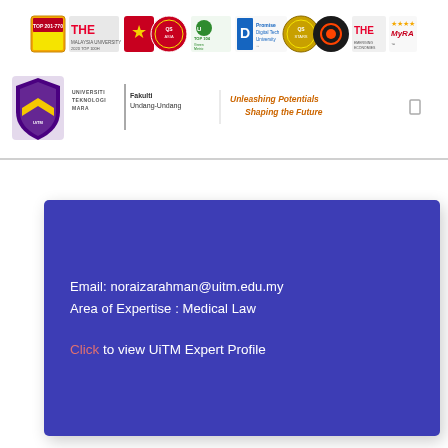[Figure (logo): Row of university ranking and accreditation logos including THE rankings, Green Metric, Digital Tech University, and MyRA ratings]
[Figure (logo): Universiti Teknologi MARA (UiTM) logo with Fakulti Undang-Undang and tagline 'Unleashing Potentials Shaping the Future']
Email: noraizarahman@uitm.edu.my
Area of Expertise : Medical Law
Click to view UiTM Expert Profile